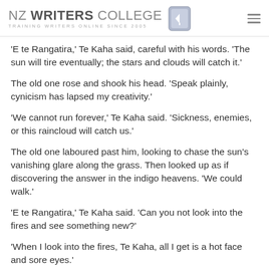NZ WRITERS COLLEGE — TRAINING WRITERS ONLINE SINCE 2005
'E te Rangatira,' Te Kaha said, careful with his words. 'The sun will tire eventually; the stars and clouds will catch it.'
The old one rose and shook his head. 'Speak plainly, cynicism has lapsed my creativity.'
'We cannot run forever,' Te Kaha said. 'Sickness, enemies, or this raincloud will catch us.'
The old one laboured past him, looking to chase the sun's vanishing glare along the grass. Then looked up as if discovering the answer in the indigo heavens. 'We could walk.'
'E te Rangatira,' Te Kaha said. 'Can you not look into the fires and see something new?'
'When I look into the fires, Te Kaha, all I get is a hot face and sore eyes.'